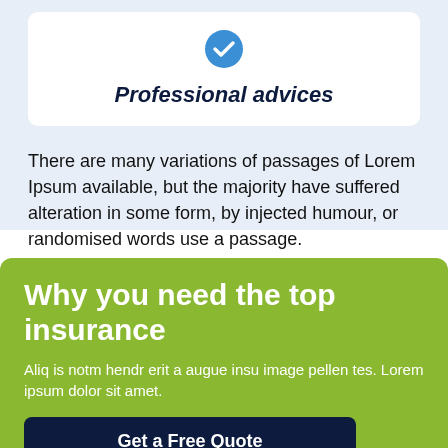[Figure (illustration): Blue circle with white checkmark icon]
Professional advices
There are many variations of passages of Lorem Ipsum available, but the majority have suffered alteration in some form, by injected humour, or randomised words use a passage.
Why you need the top insurance
Aliq is notm hendr erit a augue insu image pellen tes. Lorem ipsum dolor sit amet.
Get a Free Quote